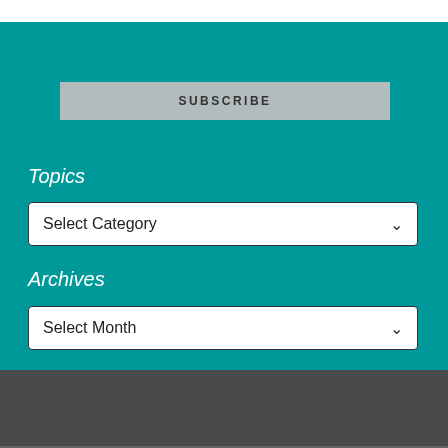COVINGTON
SUBSCRIBE
Topics
Select Category
Archives
Select Month
COVINGTON  Inside Privacy